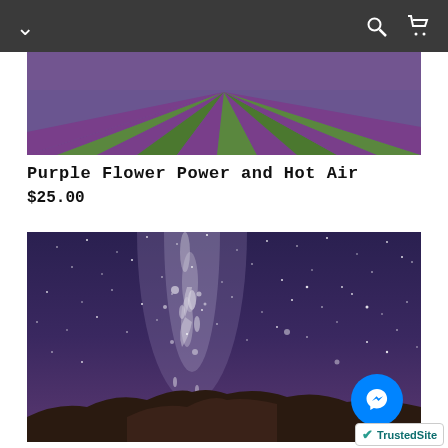Navigation header with menu, search, and cart icons
[Figure (photo): Aerial view painting of purple lavender fields with green rows, vibrant purple and green stripes pattern]
Purple Flower Power and Hot Air
$25.00
[Figure (photo): Night sky painting with milky way, stars and white paint splashes over dark purple and blue sky, rocky silhouette at bottom]